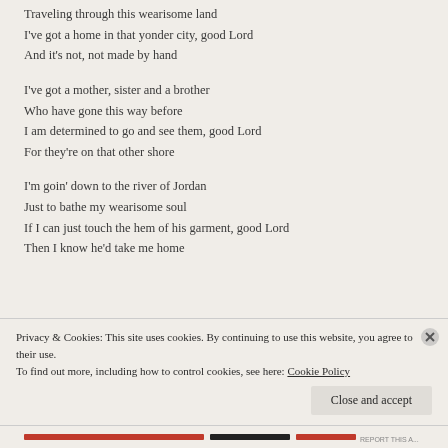Traveling through this wearisome land
I've got a home in that yonder city, good Lord
And it's not, not made by hand
I've got a mother, sister and a brother
Who have gone this way before
I am determined to go and see them, good Lord
For they're on that other shore
I'm goin' down to the river of Jordan
Just to bathe my wearisome soul
If I can just touch the hem of his garment, good Lord
Then I know he'd take me home
Privacy & Cookies: This site uses cookies. By continuing to use this website, you agree to their use. To find out more, including how to control cookies, see here: Cookie Policy
Close and accept